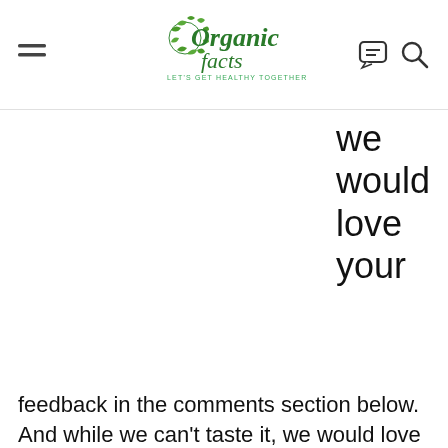Organic Facts — Let's Get Healthy Together
we would love your
feedback in the comments section below. And while we can't taste it, we would love to see how it turned out! You can connect with us on Facebook or Instagram and tag your picture with #organicfactsrecipes. [4] [5]
Do you wish to share your winning recipes with us? Please click here and fill in the details to get started.